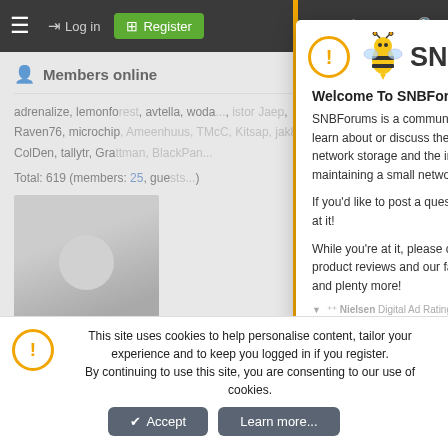SNBForums navigation bar with login, register, and icon controls
Members online
adrenalize, lemonforest, avtella, woda..., istor Jaep, Raven76, microchip, Ameenhuus, TMcC, Kitsap, jak8, Deadfuntik, ColDen, tallytr, Grattman, BlackPan...
Total: 619 (members: 25, guests...)
[Figure (photo): Person sitting at a desk, blurred background]
[Figure (screenshot): SNBForums welcome modal popup with bee logo, welcome text, and links to register and SmallNetBuilder]
Welcome To SNBForums
SNBForums is a community for anyone who wants to learn about or discuss the latest in wireless routers, network storage and the ins and outs of building and maintaining a small network.
If you'd like to post a question, simply register and have at it!
While you're at it, please check out SmallNetBuilder for product reviews and our famous Router Charts, Ranker and plenty more!
This site uses cookies to help personalise content, tailor your experience and to keep you logged in if you register. By continuing to use this site, you are consenting to our use of cookies.